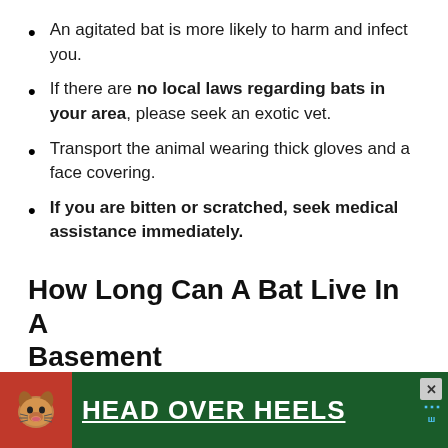An agitated bat is more likely to harm and infect you.
If there are no local laws regarding bats in your area, please seek an exotic vet.
Transport the animal wearing thick gloves and a face covering.
If you are bitten or scratched, seek medical assistance immediately.
How Long Can A Bat Live In A Basement
Assuming the bat has sought shelter that meets the requirements above, it will almost always match the description of your basement, cellar, or even a...
[Figure (illustration): Advertisement banner showing a dog icon and text HEAD OVER HEELS on a dark green background with a close button.]